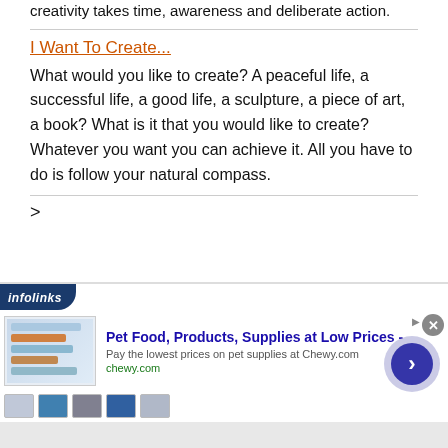creativity takes time, awareness and deliberate action.
I Want To Create...
What would you like to create? A peaceful life, a successful life, a good life, a sculpture, a piece of art, a book? What is it that you would like to create? Whatever you want you can achieve it. All you have to do is follow your natural compass.
>
[Figure (screenshot): Infolinks advertisement banner for Chewy.com pet supplies, showing product images, headline 'Pet Food, Products, Supplies at Low Prices -', subtext 'Pay the lowest prices on pet supplies at Chewy.com', URL 'chewy.com', with a close button and navigation arrow button.]